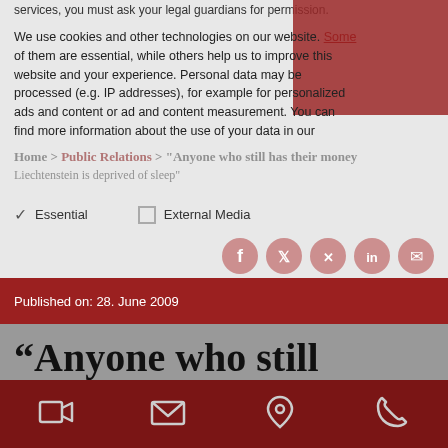services, you must ask your legal guardians for permission.
We use cookies and other technologies on our website. Some of them are essential, while others help us to improve this website and your experience. Personal data may be processed (e.g. IP addresses), for example for personalized ads and content or ad and content measurement. You can find more information about the use of your data in our
✓ Essential    □ External Media
Published on: 28. June 2009
“Anyone who still has their money in Liechtenstein is
[Figure (infographic): Social sharing icons: Facebook, Twitter, XING, LinkedIn, Email]